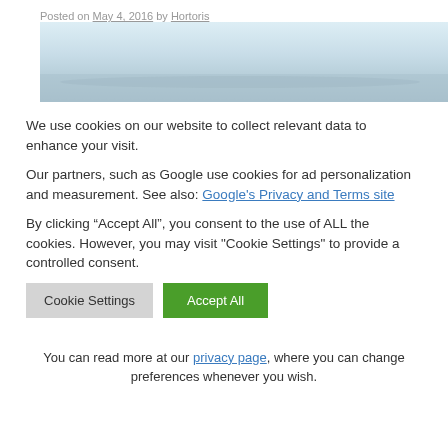Posted on May 4, 2016 by Hortoris
[Figure (photo): Aerial or landscape photo with a pale blue-gray misty sky and water tone, cropped horizontally as a wide banner.]
We use cookies on our website to collect relevant data to enhance your visit.
Our partners, such as Google use cookies for ad personalization and measurement. See also: Google's Privacy and Terms site
By clicking “Accept All”, you consent to the use of ALL the cookies. However, you may visit "Cookie Settings" to provide a controlled consent.
Cookie Settings   Accept All
You can read more at our privacy page, where you can change preferences whenever you wish.